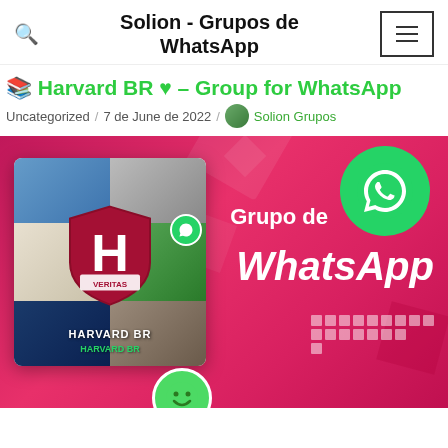Solion - Grupos de WhatsApp
📚 Harvard BR ♥ – Group for WhatsApp
Uncategorized / 7 de June de 2022 / Solion Grupos
[Figure (photo): Promotional image for Harvard BR WhatsApp group with a collage card showing Harvard shield logo, WhatsApp logo, text 'Grupo de WhatsApp' on a pink/magenta background]